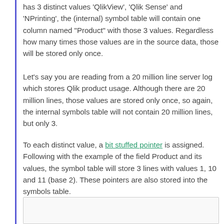has 3 distinct values 'QlikView', 'Qlik Sense' and 'NPrinting', the (internal) symbol table will contain one column named "Product" with those 3 values. Regardless how many times those values are in the source data, those will be stored only once.
Let's say you are reading from a 20 million line server log which stores Qlik product usage. Although there are 20 million lines, those values are stored only once, so again, the internal symbols table will not contain 20 million lines, but only 3.
To each distinct value, a bit stuffed pointer is assigned. Following with the example of the field Product and its values, the symbol table will store 3 lines with values 1, 10 and 11 (base 2). These pointers are also stored into the symbols table.
For the sake of the example then, our symbol table for "Product" looks like